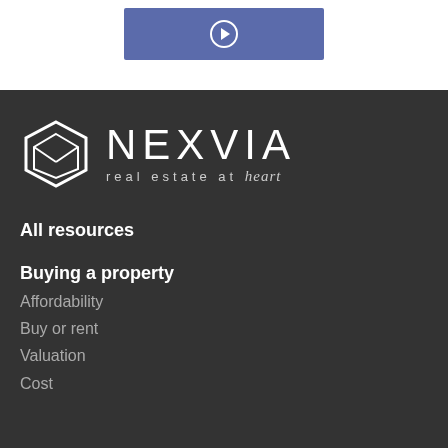[Figure (other): Blue button with right arrow icon]
[Figure (logo): Nexvia real estate at heart logo — hexagon icon with envelope shape, NEXVIA wordmark, tagline 'real estate at heart']
All resources
Buying a property
Affordability
Buy or rent
Valuation
Cost